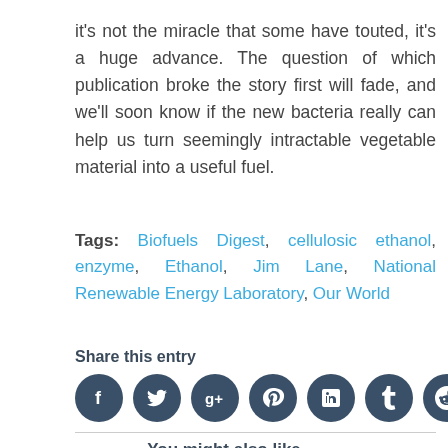it's not the miracle that some have touted, it's a huge advance. The question of which publication broke the story first will fade, and we'll soon know if the new bacteria really can help us turn seemingly intractable vegetable material into a useful fuel.
Tags: Biofuels Digest, cellulosic ethanol, enzyme, Ethanol, Jim Lane, National Renewable Energy Laboratory, Our World
Share this entry
[Figure (other): Row of 8 social media share icons (Facebook, Twitter, Google+, Pinterest, LinkedIn, Tumblr, Reddit, Email) as dark blue circles with white symbols]
You might also like